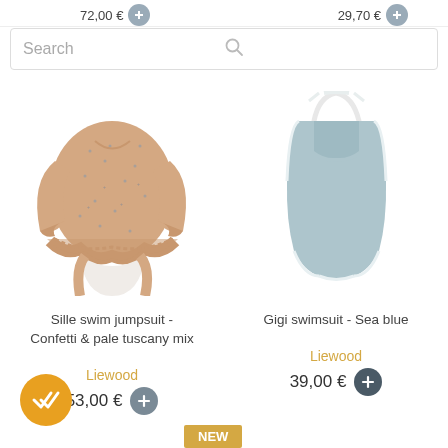72,00 €   29,70 €
Search
[Figure (photo): Pink ruffled long-sleeve swim jumpsuit with confetti pattern]
Sille swim jumpsuit - Confetti & pale tuscany mix
[Figure (photo): Light blue halter-neck swimsuit with white trim]
Gigi swimsuit - Sea blue
Liewood
53,00 €
Liewood
39,00 €
[Figure (other): Orange circular checkmark button]
NEW